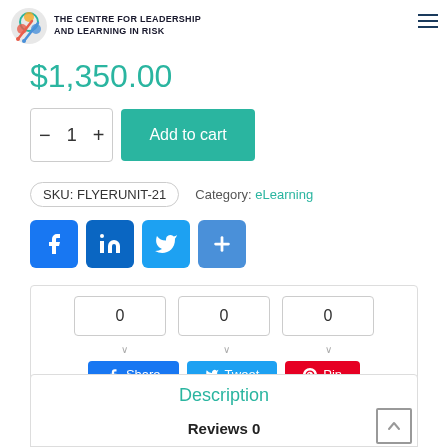The Centre for Leadership and Learning in Risk
$1,350.00
— 1 + Add to cart
SKU: FLYERUNIT-21   Category: eLearning
[Figure (screenshot): Social sharing icons: Facebook, LinkedIn, Twitter, and a generic share button]
[Figure (infographic): Social share count boxes showing 0, 0, 0 with Share, Tweet, and Pin buttons]
Description
Reviews 0